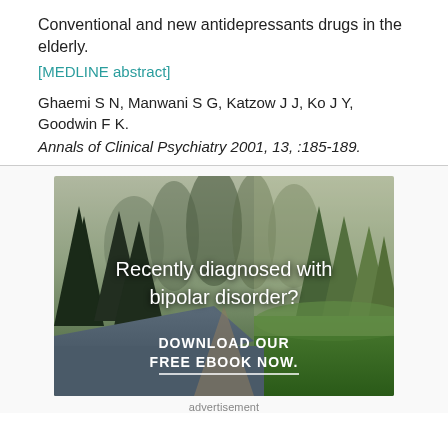Conventional and new antidepressants drugs in the elderly.
[MEDLINE abstract]
Ghaemi S N, Manwani S G, Katzow J J, Ko J Y, Goodwin F K.
Annals of Clinical Psychiatry 2001, 13, :185-189.
[Figure (photo): Advertisement image showing a forest and river scene with text 'Recently diagnosed with bipolar disorder? DOWNLOAD OUR FREE EBOOK NOW.']
advertisement